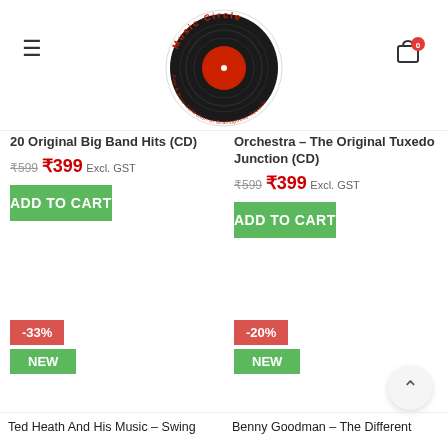[Figure (logo): Music Circle logo - vinyl record with red center, circular text reading 'Music Circle Fine & Rare Collection of Gramophone Records']
20 Original Big Band Hits (CD)
₹599 ₹399 Excl. GST
ADD TO CART
Orchestra – The Original Tuxedo Junction (CD)
₹599 ₹399 Excl. GST
ADD TO CART
-33%
NEW
-20%
NEW
Ted Heath And His Music – Swing
Benny Goodman – The Different